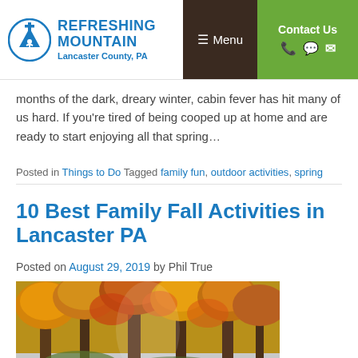Refreshing Mountain – Lancaster County, PA – Menu – Contact Us
months of the dark, dreary winter, cabin fever has hit many of us hard. If you're tired of being cooped up at home and are ready to start enjoying all that spring…
Posted in Things to Do Tagged family fun, outdoor activities, spring
10 Best Family Fall Activities in Lancaster PA
Posted on August 29, 2019 by Phil True
[Figure (photo): Autumn foliage scene with colorful fall trees and people walking below]